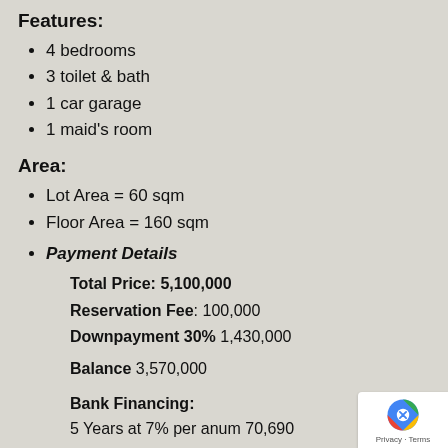Features:
4 bedrooms
3 toilet & bath
1 car garage
1 maid's room
Area:
Lot Area = 60 sqm
Floor Area = 160 sqm
Payment Details
Total Price: 5,100,000
Reservation Fee: 100,000
Downpayment 30% 1,430,000

Balance 3,570,000

Bank Financing:
5 Years at 7% per anum 70,690
10 Years at 8% per anum 43,314
15 Years at 9% per anum 36,209
DP (Downpayment) Payment can be divided in 3